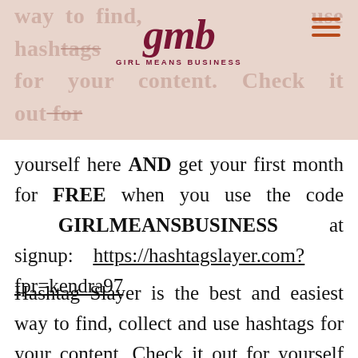[Figure (logo): Girl Means Business (GMB) logo with dark red italic serif text 'gmb' and subtitle 'GIRL MEANS BUSINESS' on a pinkish-beige banner background, with a hamburger menu icon in the top right]
yourself here AND get your first month for FREE when you use the code GIRLMEANSBUSINESS at signup: https://hashtagslayer.com?fpr=kendra97
Hashtag Slayer is the best and easiest way to find, collect and use hashtags for your content. Check it out for yourself here AND get your first